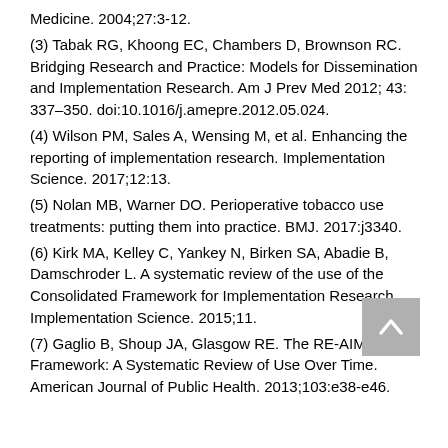Medicine. 2004;27:3-12.
(3) Tabak RG, Khoong EC, Chambers D, Brownson RC. Bridging Research and Practice: Models for Dissemination and Implementation Research. Am J Prev Med 2012; 43: 337–350. doi:10.1016/j.amepre.2012.05.024.
(4) Wilson PM, Sales A, Wensing M, et al. Enhancing the reporting of implementation research. Implementation Science. 2017;12:13.
(5) Nolan MB, Warner DO. Perioperative tobacco use treatments: putting them into practice. BMJ. 2017:j3340.
(6) Kirk MA, Kelley C, Yankey N, Birken SA, Abadie B, Damschroder L. A systematic review of the use of the Consolidated Framework for Implementation Research. Implementation Science. 2015;11.
(7) Gaglio B, Shoup JA, Glasgow RE. The RE-AIM Framework: A Systematic Review of Use Over Time. American Journal of Public Health. 2013;103:e38-e46.